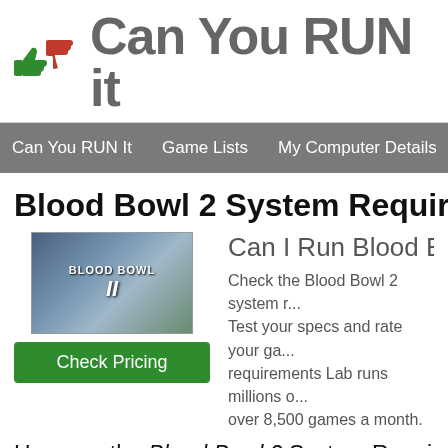[Figure (logo): Can You RUN it logo with thumbs up green and thumbs down red icons beside bold gray text 'Can You RUN it']
Can You RUN It   Game Lists   My Computer Details
Blood Bowl 2 System Require
[Figure (illustration): Blood Bowl 2 game cover art showing fantasy battle scene with text 'BLOOD BOWL II']
Check Pricing
Can I Run Blood Bowl 2
Check the Blood Bowl 2 system r... Test your specs and rate your ga... requirements Lab runs millions o... over 8,500 games a month.
Here are the Blood Bowl 2 System Requirem...
CPU Info